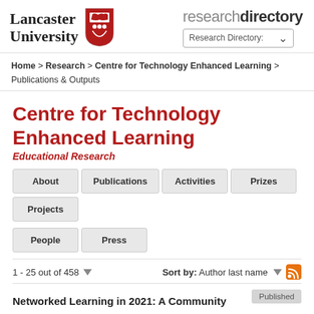Lancaster University research directory
Home > Research > Centre for Technology Enhanced Learning > Publications & Outputs
Centre for Technology Enhanced Learning
Educational Research
About
Publications
Activities
Prizes
Projects
People
Press
1 - 25 out of 458
Sort by: Author last name
Networked Learning in 2021: A Community